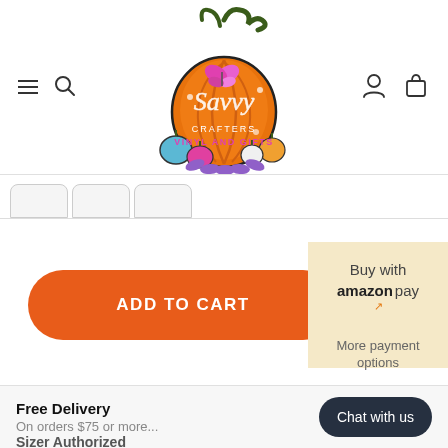[Figure (logo): Savvy Crafters Vinyl and Gifts logo: orange pumpkin with green swirling stem, butterfly, smaller colorful pumpkins, purple leaves, with text 'Savvy Crafters Vinyl and Gifts']
ADD TO CART
Buy with amazon pay
More payment options
Free Delivery
On orders $75 or more...
Chat with us
Sizer Authorized